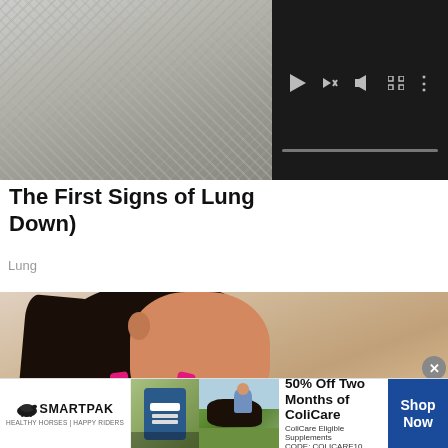[Figure (photo): Partial view of fabric/textile material, grey toned]
[Figure (screenshot): Dark video player with playback controls (play button, mute, fullscreen, more options) and a progress bar]
The First Signs of Lung (Down)
Lung
[Figure (photo): Woman in pink sports bra holding her chest, possibly showing chest pain or discomfort]
[Figure (photo): SmartPak advertisement banner: 50% Off Two Months of ColiCare, ColiCare Eligible Supplements, CODE: COLICARE10, Shop Now button]
50% Off Two Months of ColiCare
ColiCare Eligible Supplements
CODE: COLICARE10